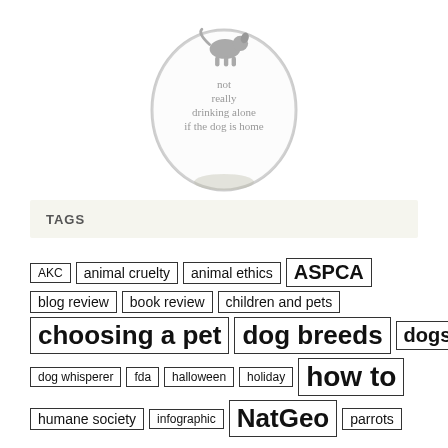[Figure (photo): A stemless wine glass with a dog silhouette and the text 'not really drinking alone if the dog is home' etched on it.]
TAGS
AKC
animal cruelty
animal ethics
ASPCA
blog review
book review
children and pets
choosing a pet
dog breeds
dogs
dog whisperer
fda
halloween
holiday
how to
humane society
infographic
NatGeo
parrots